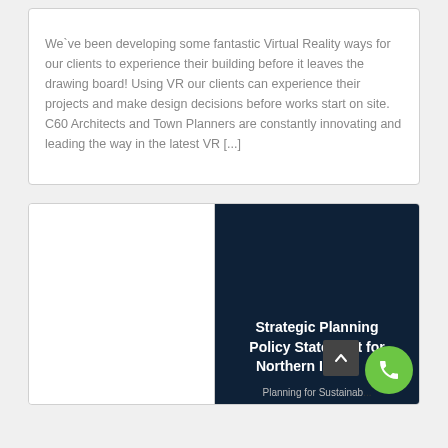We`ve been developing some fantastic Virtual Reality ways for our clients to experience their building before it leaves the drawing board! Using VR our clients can experience their projects and make design decisions before works start on site. C60 Architects and Town Planners are constantly innovating and leading the way in the latest VR [...]
[Figure (other): A two-panel card: left panel is white/blank, right panel is dark navy blue showing bold white text 'Strategic Planning Policy Statement for Northern Ireland' and partially visible text 'Planning for Sustainab...' at the bottom. A scroll-up button and a green phone button are overlaid in the bottom-right corner.]